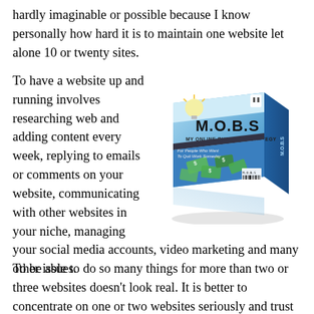hardly imaginable or possible because I know personally how hard it is to maintain one website let alone 10 or twenty sites.
[Figure (illustration): A 3D product box for 'M.O.B.S - My Online Business Strategy' showing a light bulb and money/cash flying out, with a barcode, on a blue background.]
To have a website up and running involves researching web and adding content every week, replying to emails or comments on your website, communicating with other websites in your niche, managing your social media accounts, video marketing and many other issues.
To be able to do so many things for more than two or three websites doesn't look real. It is better to concentrate on one or two websites seriously and trust